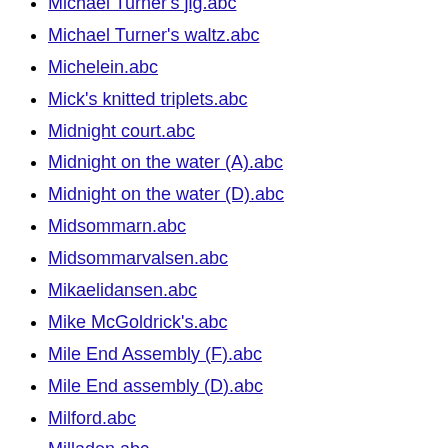Michael Turner's jig.abc
Michael Turner's waltz.abc
Michelein.abc
Mick's knitted triplets.abc
Midnight court.abc
Midnight on the water (A).abc
Midnight on the water (D).abc
Midsommarn.abc
Midsommarvalsen.abc
Mikaelidansen.abc
Mike McGoldrick's.abc
Mile End Assembly (F).abc
Mile End assembly (D).abc
Milford.abc
Milladen.abc
Millstream.abc
Miltown jig.abc
Minor crisis.abc
Minstrel boy.abc